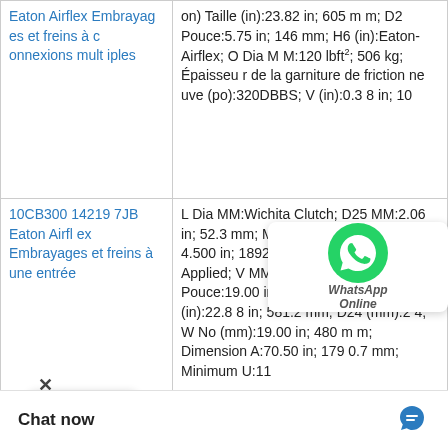| Product | Specifications |
| --- | --- |
| Eaton Airflex Embrayages et freins à connexions multiples | on) Taille (in):23.82 in; 605 mm; D2 Pouce:5.75 in; 146 mm; H6 (in):Eaton-Airflex; O Dia MM:120 lbft²; 506 kg; Épaisseur de la garniture de friction neuve (po):320DBBS; V (in):0.38 in; 10 |
| 10CB300 142197JB Eaton Airflex Embrayages et freins à une entrée | L Dia MM:Wichita Clutch; D25 MM:2.06 in; 52.3 mm; M:3870 lb; 1755 kg; H2: 4.500 in; 1892.3 mm; V Pouces:Air Applied; V MM:13.9 bar; O Dia Pouce:19.00 in; 482.6 mm; W Largeur (in):22.88 in; 581.2 mm; D24 (mm):24; W No (mm):19.00 in; 480 mm; Dimension A:70.50 in; 1790.7 mm; Minimum U:11 |
|  | in; 43 mm; Numé 38.63 in; 981 m |
Chat now